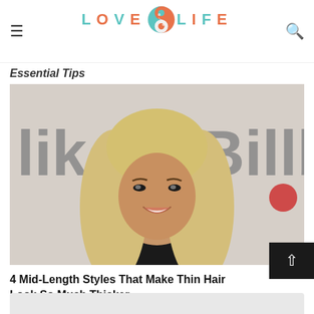LOVE LIFE
Essential Tips
[Figure (photo): A woman with long blonde wavy hair wearing a black top, smiling at camera in front of a billboard background showing 'liko' and 'Billb' text]
4 Mid-Length Styles That Make Thin Hair Look So Much Thicker